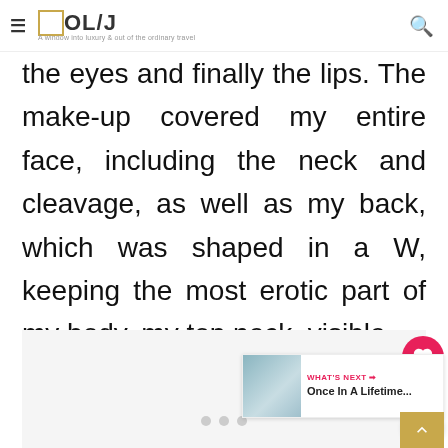≡ □OL/J — A window into luxury & out of the ordinary travel
the eyes and finally the lips. The make-up covered my entire face, including the neck and cleavage, as well as my back, which was shaped in a W, keeping the most erotic part of my body, my top neck, visible.
[Figure (photo): Image area with light gray background, partially visible. Navigation dots at bottom. Heart/like button (red circle, count '1'), share button, and 'WHAT'S NEXT → Once In A Lifetime...' widget on right side.]